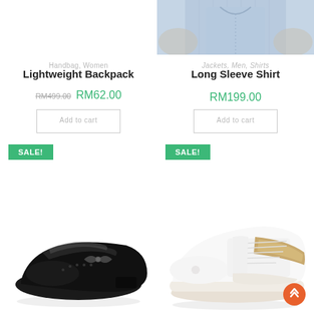[Figure (photo): Top portion of a man wearing a light blue long sleeve shirt, cropped at mid-torso, right column top]
Handbag, Women
Lightweight Backpack
RM499.00 RM62.00
Add to cart
Jackets, Men, Shirts
Long Sleeve Shirt
RM199.00
Add to cart
SALE!
[Figure (photo): Black patent leather ballet flats with bow detail, bottom left product]
SALE!
[Figure (photo): White and gold athletic sneakers, bottom right product]